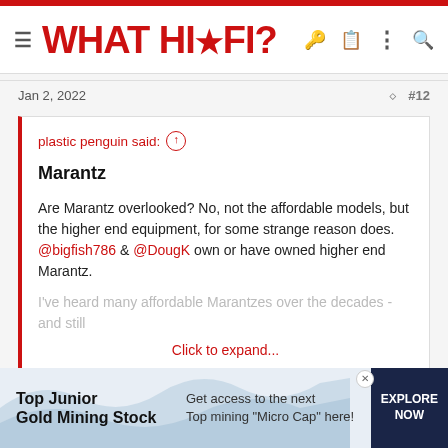WHAT HI·FI?
Jan 2, 2022   #12
plastic penguin said: ↑

Marantz

Are Marantz overlooked? No, not the affordable models, but the higher end equipment, for some strange reason does. @bigfish786 & @DougK own or have owned higher end Marantz.

I've heard many affordable Marantzes over the decades - and still

Click to expand...
The Ruby models were limited edition weren't they? Perhaps this is
[Figure (other): Advertisement banner: Top Junior Gold Mining Stock - Get access to the next Top mining 'Micro Cap' here! EXPLORE NOW]